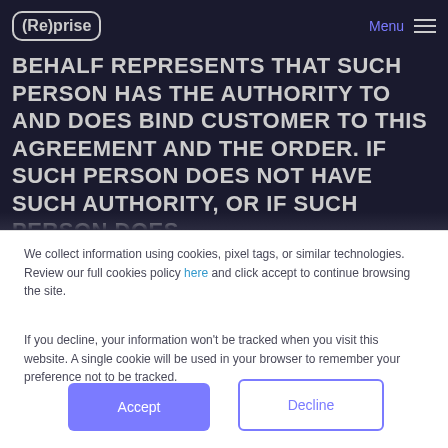Reprise | Menu
BEHALF REPRESENTS THAT SUCH PERSON HAS THE AUTHORITY TO AND DOES BIND CUSTOMER TO THIS AGREEMENT AND THE ORDER. IF SUCH PERSON DOES NOT HAVE SUCH AUTHORITY, OR IF SUCH PERSON DOES
We collect information using cookies, pixel tags, or similar technologies. Review our full cookies policy here and click accept to continue browsing the site.
If you decline, your information won't be tracked when you visit this website. A single cookie will be used in your browser to remember your preference not to be tracked.